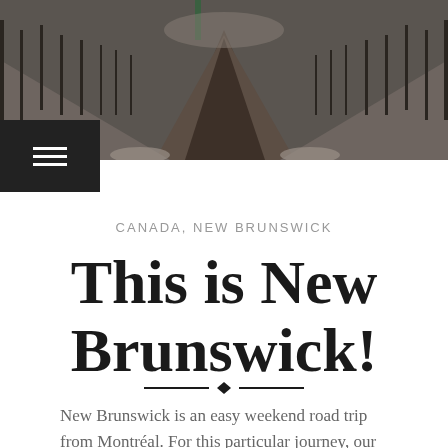[Figure (photo): A dark, wintry road receding into the distance, with snow and bare trees on either side and grey sky overhead.]
☰
CANADA, NEW BRUNSWICK
This is New Brunswick!
New Brunswick is an easy weekend road trip from Montréal. For this particular journey, our destination